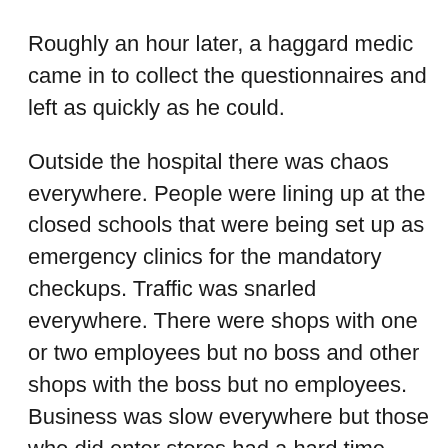Roughly an hour later, a haggard medic came in to collect the questionnaires and left as quickly as he could.
Outside the hospital there was chaos everywhere. People were lining up at the closed schools that were being set up as emergency clinics for the mandatory checkups. Traffic was snarled everywhere. There were shops with one or two employees but no boss and other shops with the boss but no employees. Business was slow everywhere but those who did enter stores had a hard time getting waited on. The national guard had been called on to shepherd the people and maintain order. When they found out, too late, that they were being quarantined, they became disgruntled and impatient with everybody they had to deal with.
Partly the last sentence is cut off at the bottom of the page.